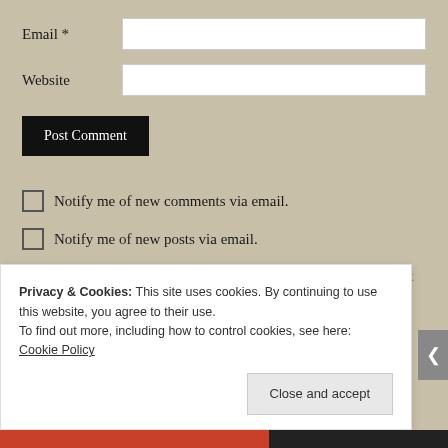Email *
Website
Post Comment
Notify me of new comments via email.
Notify me of new posts via email.
This site uses Akismet to reduce spam. Learn how your comment data is processed.
Privacy & Cookies: This site uses cookies. By continuing to use this website, you agree to their use.
To find out more, including how to control cookies, see here: Cookie Policy
Close and accept